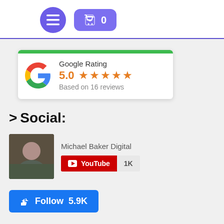[Figure (screenshot): Navigation header with purple hamburger menu circle button and purple rounded cart button showing '0']
[Figure (infographic): Google Rating card with green top bar, Google G logo, rating 5.0 with 5 orange stars, Based on 16 reviews]
> Social:
Michael Baker Digital
[Figure (infographic): YouTube subscribe button with play icon and '1K' subscriber count badge]
[Figure (infographic): Facebook Follow button showing thumbs up icon, Follow text, and 5.9K count]